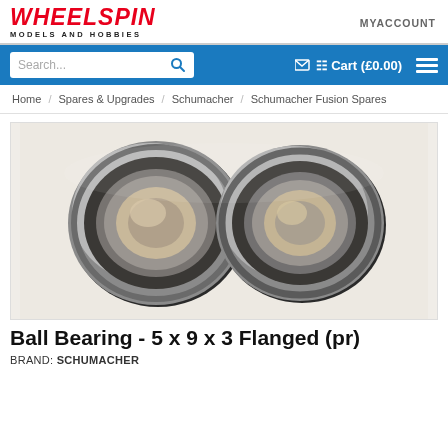WHEELSPIN MODELS AND HOBBIES | MY ACCOUNT
Search... | Cart (£0.00)
Home / Spares & Upgrades / Schumacher / Schumacher Fusion Spares
[Figure (photo): Two flanged ball bearings (5x9x3mm) side by side on a light background, showing metallic silver/dark finish with visible inner and outer races and flange.]
Ball Bearing - 5 x 9 x 3 Flanged (pr)
BRAND: SCHUMACHER